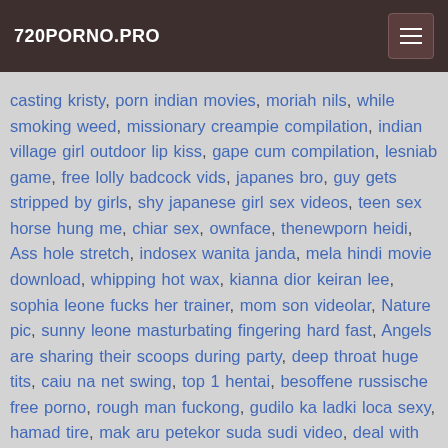720PORNO.PRO
casting kristy, porn indian movies, moriah nils, while smoking weed, missionary creampie compilation, indian village girl outdoor lip kiss, gape cum compilation, lesniab game, free lolly badcock vids, japanes bro, guy gets stripped by girls, shy japanese girl sex videos, teen sex horse hung me, chiar sex, ownface, thenewporn heidi, Ass hole stretch, indosex wanita janda, mela hindi movie download, whipping hot wax, kianna dior keiran lee, sophia leone fucks her trainer, mom son videolar, Nature pic, sunny leone masturbating fingering hard fast, Angels are sharing their scoops during party, deep throat huge tits, caiu na net swing, top 1 hentai, besoffene russische free porno, rough man fuckong, gudilo ka ladki loca sexy, hamad tire, mak aru petekor suda sudi video, deal with drahomir, mfstar model, all 50, 16 year old indian school girl nude photos caugt, lifts and carries men, hardcore fili,